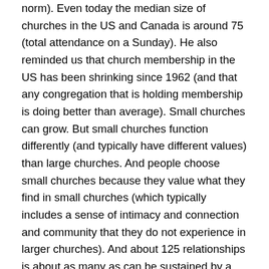norm). Even today the median size of churches in the US and Canada is around 75 (total attendance on a Sunday). He also reminded us that church membership in the US has been shrinking since 1962 (and that any congregation that is holding membership is doing better than average). Small churches can grow. But small churches function differently (and typically have different values) than large churches. And people choose small churches because they value what they find in small churches (which typically includes a sense of intimacy and connection and community that they do not experience in larger churches). And about 125 relationships is about as many as can be sustained by a single community (which would be the point at which the way the community functions would have to change). And he reminded us that numerical growth is only one kind of growth. It is possible to grow in individual faith, in community love, and in